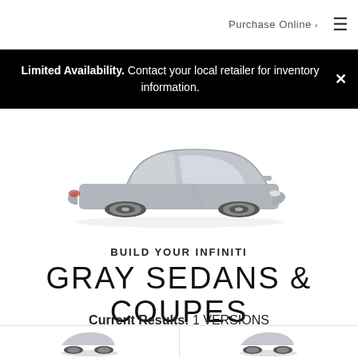Purchase Online >
Limited Availability. Contact your local retailer for inventory information.
[Figure (illustration): Side profile of a gray Infiniti coupe/sedan vehicle on a white background]
BUILD YOUR INFINITI
GRAY SEDANS & COUPES
Current Results: 1 VERSIONS